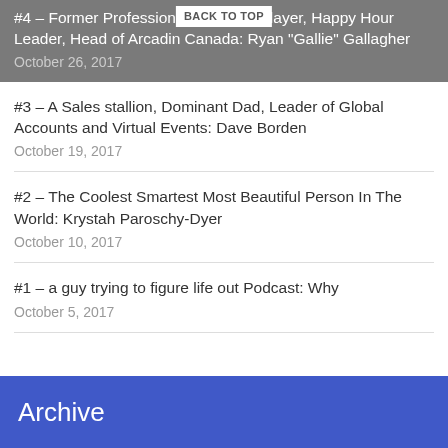#4 – Former Professional Lacrosse Player, Happy Hour Leader, Head of Arcadin Canada: Ryan "Gallie" Gallagher
October 26, 2017
#3 – A Sales stallion, Dominant Dad, Leader of Global Accounts and Virtual Events: Dave Borden
October 19, 2017
#2 – The Coolest Smartest Most Beautiful Person In The World: Krystah Paroschy-Dyer
October 10, 2017
#1 – a guy trying to figure life out Podcast: Why
October 5, 2017
Archive